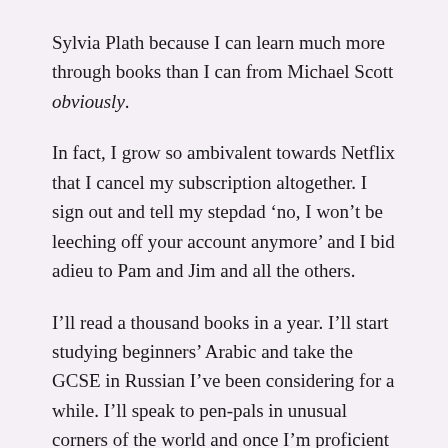Sylvia Plath because I can learn much more through books than I can from Michael Scott obviously.
In fact, I grow so ambivalent towards Netflix that I cancel my subscription altogether. I sign out and tell my stepdad ‘no, I won’t be leeching off your account anymore’ and I bid adieu to Pam and Jim and all the others.
I’ll read a thousand books in a year. I’ll start studying beginners’ Arabic and take the GCSE in Russian I’ve been considering for a while. I’ll speak to pen-pals in unusual corners of the world and once I’m proficient in Russian and Arabic, I’ll apply to MI5 and become the next James Bond.